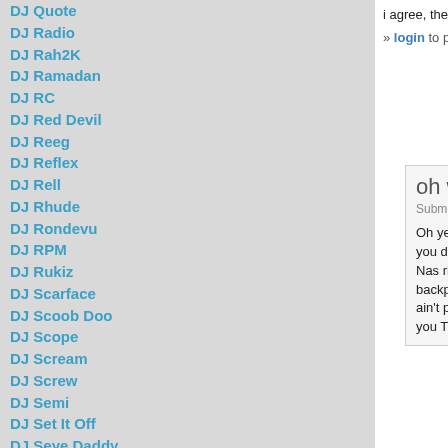DJ Quote
DJ Radio
DJ Rah2K
DJ Ramadan
DJ RC
DJ Red Devil
DJ Reeg
DJ Reflex
DJ Rell
DJ Rhude
DJ Rondevu
DJ RPM
DJ Rukiz
DJ Scarface
DJ Scoob Doo
DJ Scope
DJ Scream
DJ Screw
DJ Semi
DJ Set It Off
DJ Seye Daddy
DJ Shef
DJ Skee
DJ Smallz
DJ Smarts
DJ Smooth Denali
DJ Spinatik
DJ Spinz
DJ Spyda
DJ Stashman
DJ Steelz
DJ Storm
DJ Strong
i agree, theyre getting played out boring.
» login to post comments
oh we boring?
Submitted by The ATXien (not ver - 4:44am.
Oh yeah, we boring? Texas styles and bangin beats you proves you "been floatin fac mainstream." I bet you don't said that line you little anti-h south is played out what am Wait for the the yet another listen to Nas rhyme about e hop is dead because he fell first cd? Or maybe I need to with a fashionable backpack low budget "underground" p Premmo and Pete Rock's b good on his Fruity Loops sa say that ain't played out?). O location wrong and you just you try to trick myself into th hardcore thug because you Tunce disks. Or is it becau